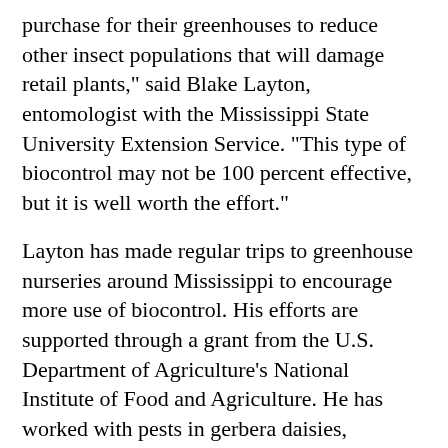purchase for their greenhouses to reduce other insect populations that will damage retail plants," said Blake Layton, entomologist with the Mississippi State University Extension Service. "This type of biocontrol may not be 100 percent effective, but it is well worth the effort."
Layton has made regular trips to greenhouse nurseries around Mississippi to encourage more use of biocontrol. His efforts are supported through a grant from the U.S. Department of Agriculture’s National Institute of Food and Agriculture. He has worked with pests in gerbera daisies, cucumbers, poinsettias and many other plants.
Layton said insects develop a resistance to pesticides with repetitive chemical use.
“One goal is to buy some time between insecticide applications. Resistance develops quicker with frequent applications,” he said. “Use of predatory insects also